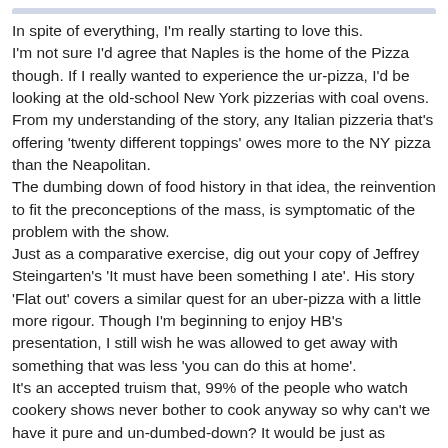In spite of everything, I'm really starting to love this.
I'm not sure I'd agree that Naples is the home of the Pizza though. If I really wanted to experience the ur-pizza, I'd be looking at the old-school New York pizzerias with coal ovens. From my understanding of the story, any Italian pizzeria that's offering 'twenty different toppings' owes more to the NY pizza than the Neapolitan.
The dumbing down of food history in that idea, the reinvention to fit the preconceptions of the mass, is symptomatic of the problem with the show.
Just as a comparative exercise, dig out your copy of Jeffrey Steingarten's 'It must have been something I ate'. His story 'Flat out' covers a similar quest for an uber-pizza with a little more rigour. Though I'm beginning to enjoy HB's presentation, I still wish he was allowed to get away with something that was less 'you can do this at home'.
It's an accepted truism that, 99% of the people who watch cookery shows never bother to cook anyway so why can't we have it pure and un-dumbed-down? It would be just as relevant and entertaining. If HB was allowed to present and cook the way he clearly wants to and has the talent to do, I could just die and